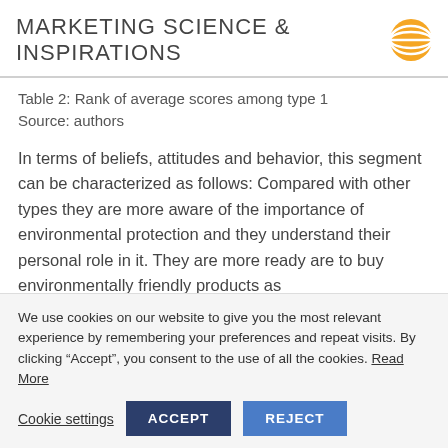MARKETING SCIENCE & INSPIRATIONS
Table 2: Rank of average scores among type 1
Source: authors
In terms of beliefs, attitudes and behavior, this segment can be characterized as follows: Compared with other types they are more aware of the importance of environmental protection and they understand their personal role in it. They are more ready are to buy environmentally friendly products as
We use cookies on our website to give you the most relevant experience by remembering your preferences and repeat visits. By clicking “Accept”, you consent to the use of all the cookies. Read More
Cookie settings ACCEPT REJECT